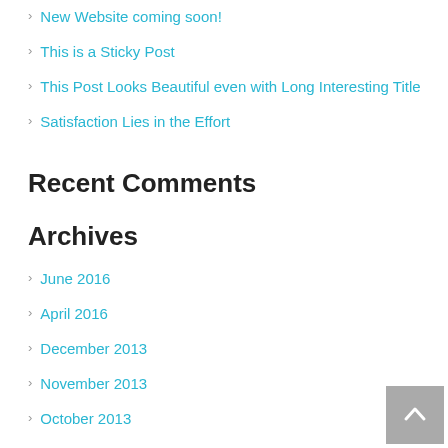New Website coming soon!
This is a Sticky Post
This Post Looks Beautiful even with Long Interesting Title
Satisfaction Lies in the Effort
Recent Comments
Archives
June 2016
April 2016
December 2013
November 2013
October 2013